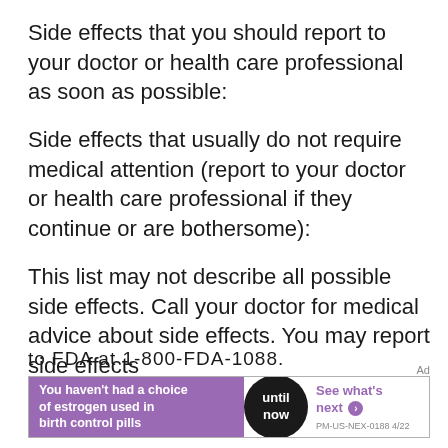Side effects that you should report to your doctor or health care professional as soon as possible:
Side effects that usually do not require medical attention (report to your doctor or health care professional if they continue or are bothersome):
This list may not describe all possible side effects. Call your doctor for medical advice about side effects. You may report side effects to FDA at 1-800-FDA-1088.
[Figure (other): Advertisement banner for birth control pill estrogen choice product. Purple left panel with white bold text: 'You haven't had a choice of estrogen used in birth control pills'. Black circle center with white text: 'until now'. White right panel with purple bold text: 'See what's next' with arrow, and small text 'PM-US-NEX-0188 4/22'.]